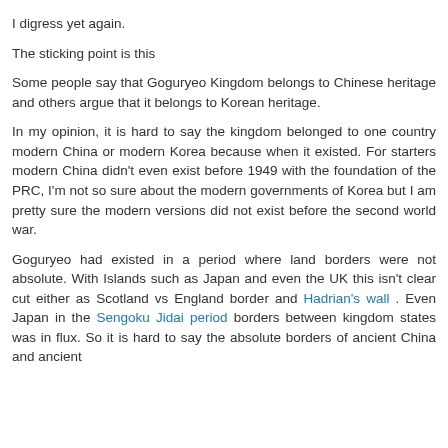I digress yet again.
The sticking point is this
Some people say that Goguryeo Kingdom belongs to Chinese heritage and others argue that it belongs to Korean heritage.
In my opinion, it is hard to say the kingdom belonged to one country modern China or modern Korea because when it existed. For starters modern China didn't even exist before 1949 with the foundation of the PRC, I'm not so sure about the modern governments of Korea but I am pretty sure the modern versions did not exist before the second world war.
Goguryeo had existed in a period where land borders were not absolute. With Islands such as Japan and even the UK this isn't clear cut either as Scotland vs England border and Hadrian's wall . Even Japan in the Sengoku Jidai period borders between kingdom states was in flux. So it is hard to say the absolute borders of ancient China and ancient Korea in China's border and how these aligned back then